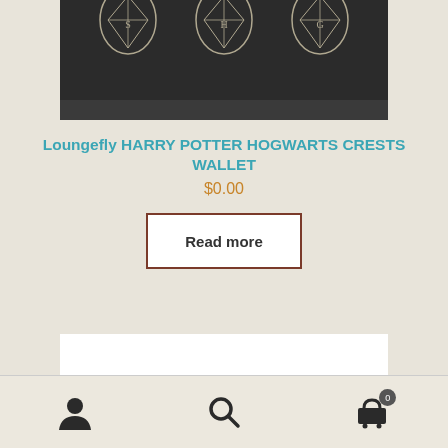[Figure (photo): Top portion of a dark/black Harry Potter Hogwarts Crests wallet with three embossed crest emblems visible against dark fabric background]
Loungefly HARRY POTTER HOGWARTS CRESTS WALLET
$0.00
Read more
[Figure (photo): Top portion of another product showing a brown handle/strap against white background]
Navigation bar with user icon, search icon, and cart icon with badge showing 0